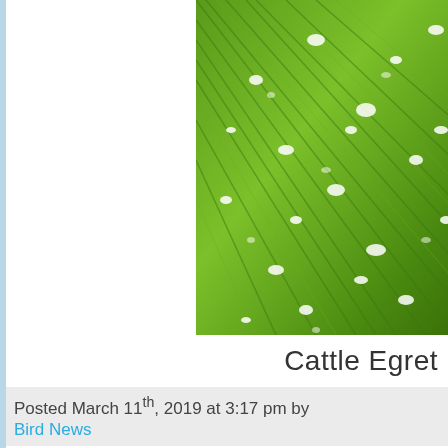[Figure (photo): Close-up photograph of grass with water droplets, green blades with white glistening drops scattered across.]
Cattle Egret
Posted March 11th, 2019 at 3:17 pm by
Bird News
Sunday 10th March 2019
Ilfracombe Lesser Black-Bac